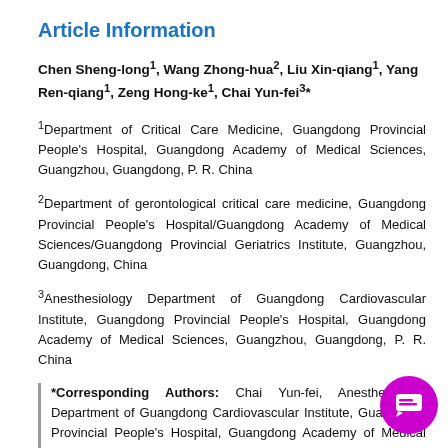Article Information
Chen Sheng-long¹, Wang Zhong-hua², Liu Xin-qiang¹, Yang Ren-qiang¹, Zeng Hong-ke¹, Chai Yun-fei³*
¹Department of Critical Care Medicine, Guangdong Provincial People's Hospital, Guangdong Academy of Medical Sciences, Guangzhou, Guangdong, P. R. China
²Department of gerontological critical care medicine, Guangdong Provincial People's Hospital/Guangdong Academy of Medical Sciences/Guangdong Provincial Geriatrics Institute, Guangzhou, Guangdong, China
³Anesthesiology Department of Guangdong Cardiovascular Institute, Guangdong Provincial People's Hospital, Guangdong Academy of Medical Sciences, Guangzhou, Guangdong, P. R. China
*Corresponding Authors: Chai Yun-fei, Anesthesiology Department of Guangdong Cardiovascular Institute, Guangdong Provincial People's Hospital, Guangdong Academy of Medical Sciences, Guangzhou, 5[truncated],